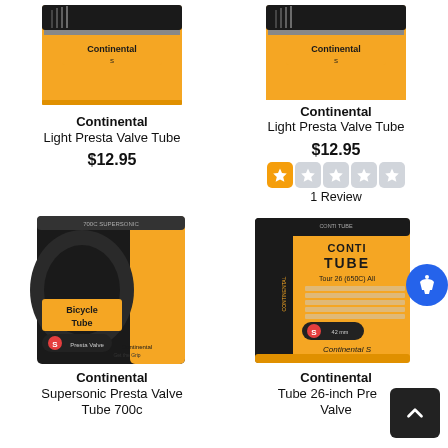[Figure (photo): Continental Light Presta Valve Tube yellow box product image (top-left)]
Continental
Light Presta Valve Tube
$12.95
[Figure (photo): Continental Light Presta Valve Tube yellow box product image (top-right)]
Continental
Light Presta Valve Tube
$12.95
1 Review
[Figure (photo): Continental Supersonic Presta Valve Tube 700c Bicycle Tube black/orange box product image]
Continental
Supersonic Presta Valve Tube 700c
[Figure (photo): Continental Tube 26-inch Presta Valve Conti Tube yellow/black box product image]
Continental
Tube 26-inch Presta Valve